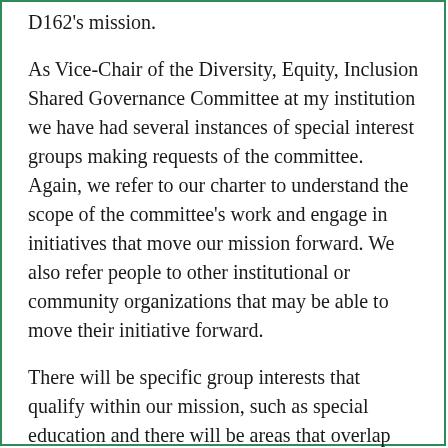D102's mission. As Vice-Chair of the Diversity, Equity, Inclusion Shared Governance Committee at my institution we have had several instances of special interest groups making requests of the committee. Again, we refer to our charter to understand the scope of the committee's work and engage in initiatives that move our mission forward. We also refer people to other institutional or community organizations that may be able to move their initiative forward.
There will be specific group interests that qualify within our mission, such as special education and there will be areas that overlap with other institutions or government agencies, such as